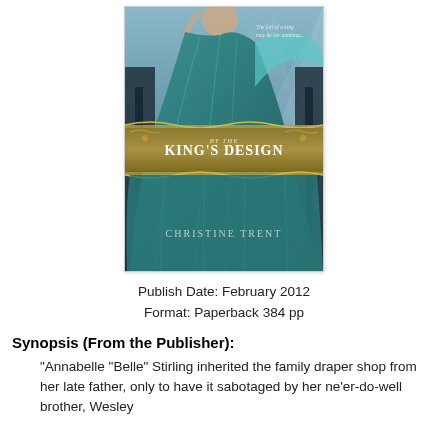[Figure (illustration): Book cover of 'By the King's Design' by Christine Trent. Features a woman in a teal/turquoise gown, dramatic background with rays of light. Text reads 'The fall of a king may be her undoing...' at the top. A gold banner in the middle displays 'By the King's Design' in white lettering. Author name 'Christine Trent' appears at the bottom in light gray text.]
Publish Date: February 2012
Format: Paperback 384 pp
Synopsis (From the Publisher):
"Annabelle "Belle" Stirling inherited the family draper shop from her late father, only to have it sabotaged by her ne'er-do-well brother, Wesley